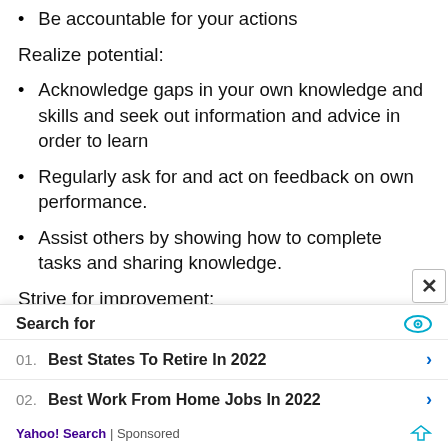Be accountable for your actions
Realize potential:
Acknowledge gaps in your own knowledge and skills and seek out information and advice in order to learn
Regularly ask for and act on feedback on own performance.
Assist others by showing how to complete tasks and sharing knowledge.
Strive for improvement:
Demonstrate openness and willingness to